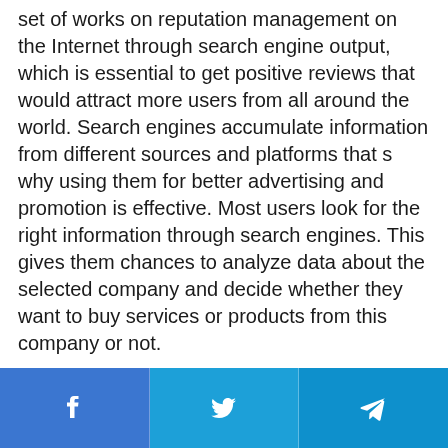set of works on reputation management on the Internet through search engine output, which is essential to get positive reviews that would attract more users from all around the world. Search engines accumulate information from different sources and platforms that s why using them for better advertising and promotion is effective. Most users look for the right information through search engines. This gives them chances to analyze data about the selected company and decide whether they want to buy services or products from this company or not.
[Figure (other): Social share buttons bar at the bottom: Facebook (blue), Twitter (light blue), Telegram (blue) icons]